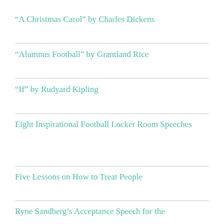"A Christmas Carol" by Charles Dickens
"Alumnus Football" by Grantland Rice
"If" by Rudyard Kipling
Eight Inspirational Football Locker Room Speeches
Five Lessons on How to Treat People
Ryne Sandberg's Acceptance Speech for the